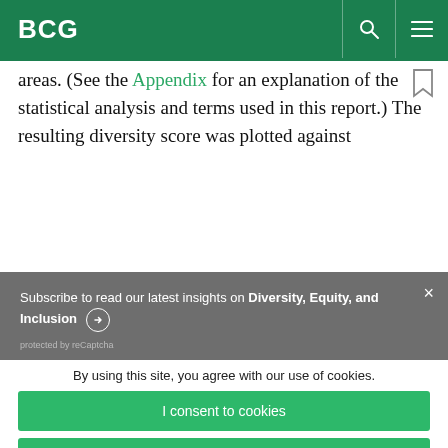BCG
areas. (See the Appendix for an explanation of the statistical analysis and terms used in this report.) The resulting diversity score was plotted against
Subscribe to read our latest insights on Diversity, Equity, and Inclusion
protected by reCaptcha
By using this site, you agree with our use of cookies.
I consent to cookies
Want to know more?
Read our Cookie Policy